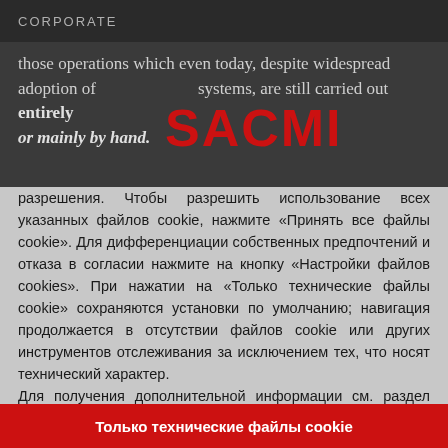CORPORATE
those operations which even today, despite widespread adoption of ERP systems, are still carried out entirely or mainly by hand.
[Figure (logo): SACMI logo in red bold text]
разрешения. Чтобы разрешить использование всех указанных файлов cookie, нажмите «Принять все файлы cookie». Для дифференциации собственных предпочтений и отказа в согласии нажмите на кнопку «Настройки файлов cookies». При нажатии на «Только технические файлы cookie» сохраняются установки по умолчанию; навигация продолжается в отсутствии файлов cookie или других инструментов отслеживания за исключением тех, что носят технический характер.
Для получения дополнительной информации см. раздел «Политика использования файлов Cookie».
НАСТРОЙКА ФАЙЛОВ COOKIES
Только технические файлы cookie